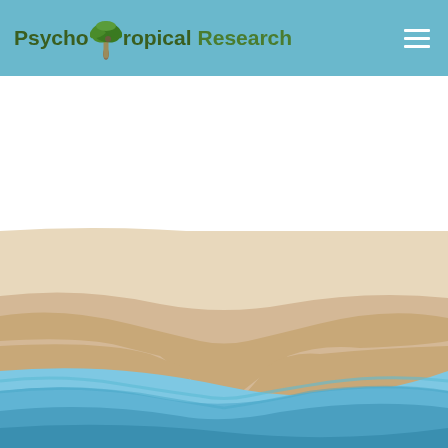Psycho Tropical Research
[Figure (illustration): Tropical beach illustration with layered sandy shores and blue ocean waves in a flat/cartoon style. Upper half shows a white sky area and sandy beach layers. Lower half shows varying shades of blue water with gentle wave curves.]